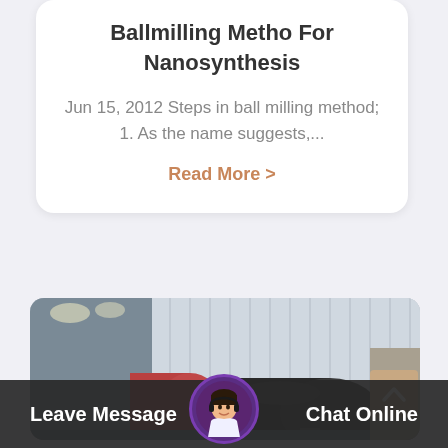Ballmilling Metho For Nanosynthesis
Jun 15, 2012 Steps in ball milling method; 1. As the name suggests,...
Read More >
[Figure (photo): Industrial ball milling equipment inside a factory/warehouse setting. Large cylindrical ball mills visible with red/dark colored drums. Steel/metal building structure in background.]
Leave Message
Chat Online